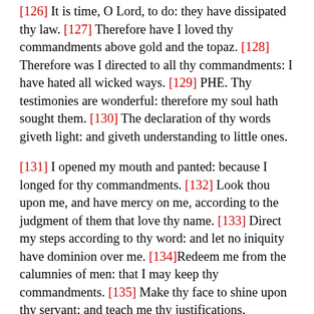[126] It is time, O Lord, to do: they have dissipated thy law. [127] Therefore have I loved thy commandments above gold and the topaz. [128] Therefore was I directed to all thy commandments: I have hated all wicked ways. [129] PHE. Thy testimonies are wonderful: therefore my soul hath sought them. [130] The declaration of thy words giveth light: and giveth understanding to little ones.
[131] I opened my mouth and panted: because I longed for thy commandments. [132] Look thou upon me, and have mercy on me, according to the judgment of them that love thy name. [133] Direct my steps according to thy word: and let no iniquity have dominion over me. [134]Redeem me from the calumnies of men: that I may keep thy commandments. [135] Make thy face to shine upon thy servant: and teach me thy justifications.
[136] My eyes have sent forth springs of water: because they have not kept thy law. [137] SADE. Thou art just, O Lord: and